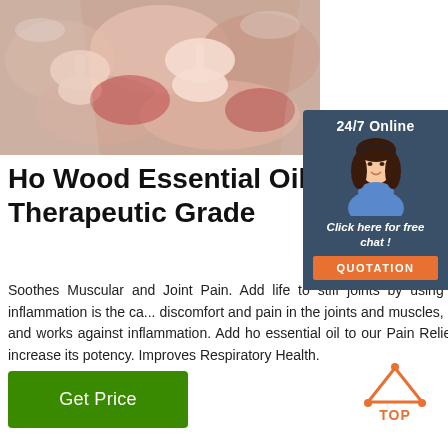[Figure (photo): Close-up photo of raw meat/bones wrapped in plastic packaging]
[Figure (infographic): 24/7 Online customer service chat widget with woman wearing headset, 'Click here for free chat!' link, and orange QUOTATION button]
Ho Wood Essential Oil- 100 Therapeutic Grade
Soothes Muscular and Joint Pain. Add life to stiff joints by using ho wood. If inflammation is the cause of discomfort and pain in the joints and muscles, the soothing and works against inflammation. Add ho essential oil to our Pain Relief Formula to increase its potency. Improves Respiratory Health.
[Figure (infographic): Green 'Get Price' button]
[Figure (logo): Orange TOP arrow/triangle logo icon]